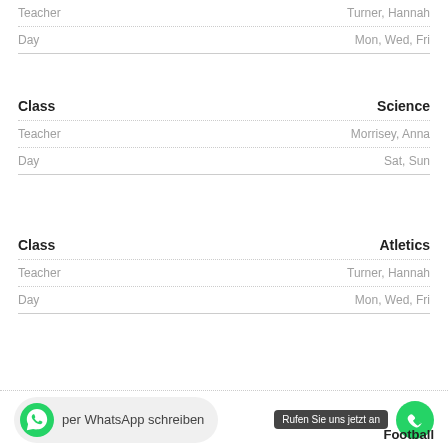| Field | Value |
| --- | --- |
| Teacher | Turner, Hannah |
| Day | Mon, Wed, Fri |
| Field | Value |
| --- | --- |
| Class | Science |
| Teacher | Morrisey, Anna |
| Day | Sat, Sun |
| Field | Value |
| --- | --- |
| Class | Atletics |
| Teacher | Turner, Hannah |
| Day | Mon, Wed, Fri |
per WhatsApp schreiben
Rufen Sie uns jetzt an
Football